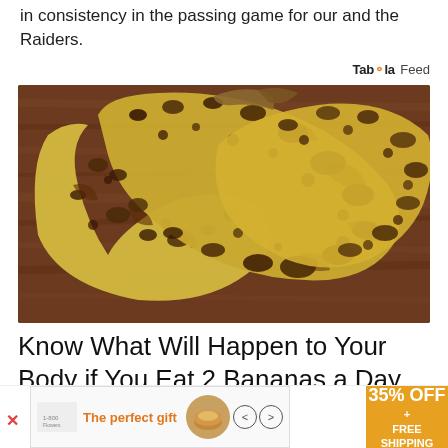in consistency in the passing game for our and the Raiders.
[Figure (photo): Three overripe bananas with heavy brown spotting lying on a dark wooden surface]
Know What Will Happen to Your Body if You Eat 2 Bananas a Day
Bananas | Sponsored
[Figure (infographic): Bottom advertisement banner: The perfect gift, with bowl image, navigation arrows, and 35% OFF + FREE SHIPPING badge]